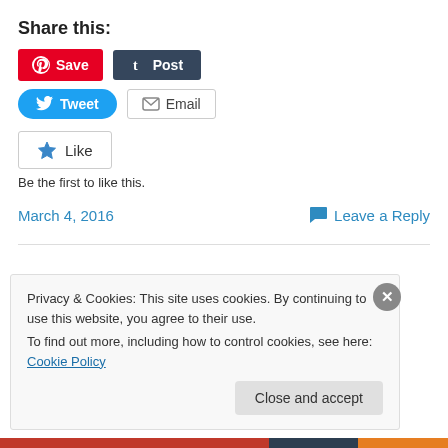Share this:
[Figure (other): Social share buttons: Pinterest Save, Tumblr Post, Twitter Tweet, Email]
[Figure (other): WordPress Like button widget with star icon and text: Be the first to like this.]
Be the first to like this.
March 4, 2016
Leave a Reply
Privacy & Cookies: This site uses cookies. By continuing to use this website, you agree to their use. To find out more, including how to control cookies, see here: Cookie Policy
Close and accept